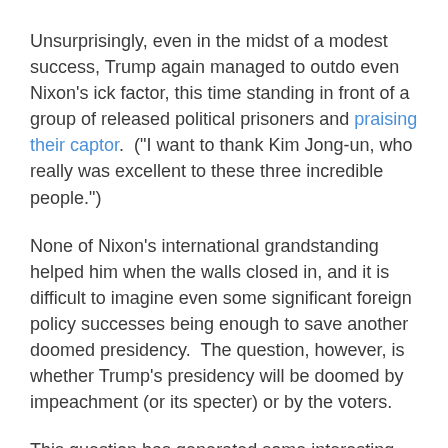Unsurprisingly, even in the midst of a modest success, Trump again managed to outdo even Nixon's ick factor, this time standing in front of a group of released political prisoners and praising their captor.  ("I want to thank Kim Jong-un, who really was excellent to these three incredible people.")
None of Nixon's international grandstanding helped him when the walls closed in, and it is difficult to imagine even some significant foreign policy successes being enough to save another doomed presidency.  The question, however, is whether Trump's presidency will be doomed by impeachment (or its specter) or by the voters.
This question has generated some interesting disagreement among people who want to rid us of Trump.  Count me among those who are not having fainting spells at the very thought of impeachment.
Neil H. Buchanan at 11:01 AM